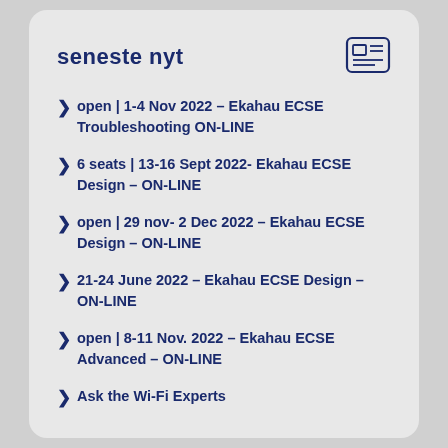seneste nyt
open | 1-4 Nov 2022 – Ekahau ECSE Troubleshooting ON-LINE
6 seats | 13-16 Sept 2022- Ekahau ECSE Design – ON-LINE
open | 29 nov- 2 Dec 2022 – Ekahau ECSE Design – ON-LINE
21-24 June 2022 – Ekahau ECSE Design – ON-LINE
open | 8-11 Nov. 2022 – Ekahau ECSE Advanced – ON-LINE
Ask the Wi-Fi Experts